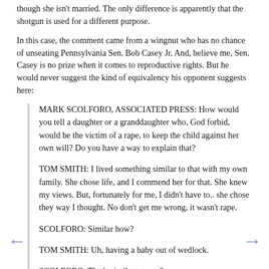though she isn't married. The only difference is apparently that the shotgun is used for a different purpose.
In this case, the comment came from a wingnut who has no chance of unseating Pennsylvania Sen. Bob Casey Jr. And, believe me, Sen. Casey is no prize when it comes to reproductive rights. But he would never suggest the kind of equivalency his opponent suggests here:
MARK SCOLFORO, ASSOCIATED PRESS: How would you tell a daughter or a granddaughter who, God forbid, would be the victim of a rape, to keep the child against her own will? Do you have a way to explain that?
TOM SMITH: I lived something similar to that with my own family. She chose life, and I commend her for that. She knew my views. But, fortunately for me, I didn't have to.. she chose they way I thought. No don't get me wrong, it wasn't rape.
SCOLFORO: Similar how?
TOM SMITH: Uh, having a baby out of wedlock.
SCOLFORO: That's similar to rape?
TOM SMITH: Uh, no...